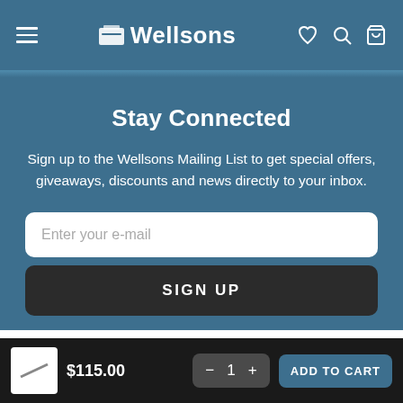Wellsons
Stay Connected
Sign up to the Wellsons Mailing List to get special offers, giveaways, discounts and news directly to your inbox.
Enter your e-mail
SIGN UP
$115.00  −  1  +  ADD TO CART